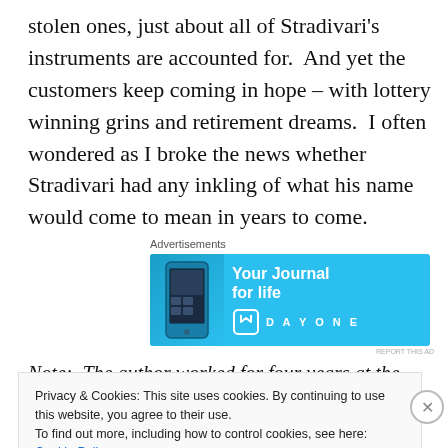stolen ones, just about all of Stradivari's instruments are accounted for.  And yet the customers keep coming in hope – with lottery winning grins and retirement dreams.  I often wondered as I broke the news whether Stradivari had any inkling of what his name would come to mean in years to come.
Advertisements
[Figure (illustration): Advertisement banner for Day One journal app. Light blue background with phone image on left, text 'Your Journal for life' in white bold, and DAYONE branding with book icon on right.]
Note:  The author worked for four years at the now sadly
Privacy & Cookies: This site uses cookies. By continuing to use this website, you agree to their use.
To find out more, including how to control cookies, see here: Cookie Policy
Close and accept